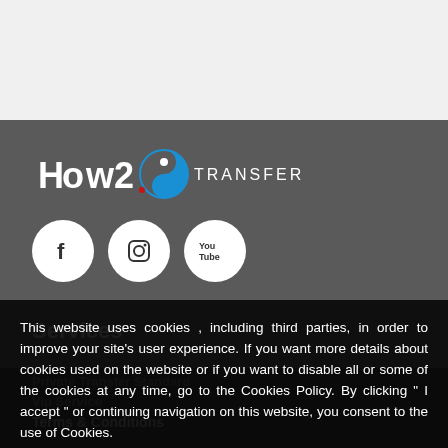[Figure (logo): How2Go Transfer logo with yin-yang style icon and text 'TRANSFER']
[Figure (illustration): Three white circular social media icons: Facebook, Instagram, YouTube]
Services
Private Transfer Standard
Vip Service
Terms & Conditions
This website uses cookies , including third parties, in order to improve your site's user experience. If you want more details about cookies used on the website or if you want to disable all or some of the cookies at any time, go to the Cookies Policy. By clicking " I accept " or continuing navigation on this website, you consent to the use of Cookies.
Cookie policy
Accept